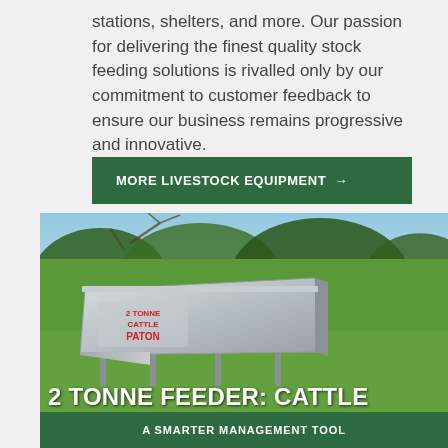stations, shelters, and more. Our passion for delivering the finest quality stock feeding solutions is rivalled only by our commitment to customer feedback to ensure our business remains progressive and innovative.
MORE LIVESTOCK EQUIPMENT →
[Figure (photo): Outdoor photo of a galvanized metal cattle feeder (2 Tonne Feeder: Cattle by Paton) sitting on green grass with trees in the background. Text overlay reads '2 TONNE FEEDER: CATTLE' and subtitle bar 'A SMARTER MANAGEMENT TOOL'.]